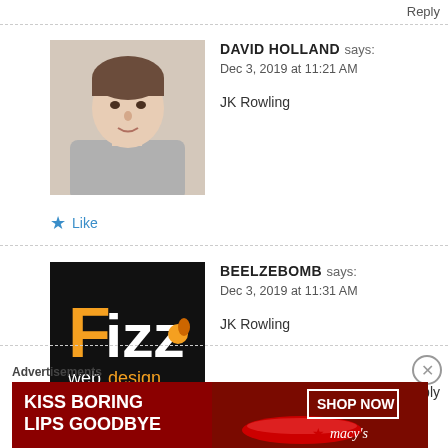Reply
[Figure (photo): Profile photo of David Holland, a man with short hair]
DAVID HOLLAND says: Dec 3, 2019 at 11:21 AM
JK Rowling
Like
Reply
[Figure (logo): Fizz web design logo on black background]
BEELZEBOMB says: Dec 3, 2019 at 11:31 AM
JK Rowling
Like
Reply
Advertisements
[Figure (photo): Macy's advertisement banner: KISS BORING LIPS GOODBYE with SHOP NOW button and Macy's star logo]